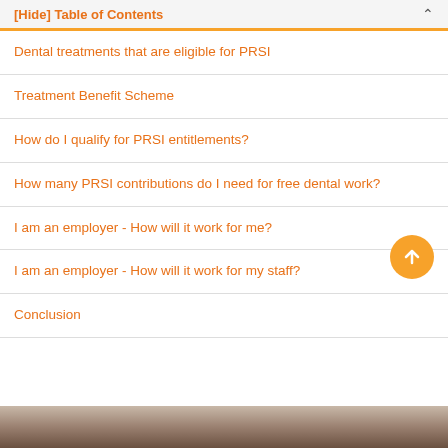[Hide] Table of Contents
Dental treatments that are eligible for PRSI
Treatment Benefit Scheme
How do I qualify for PRSI entitlements?
How many PRSI contributions do I need for free dental work?
I am an employer - How will it work for me?
I am an employer - How will it work for my staff?
Conclusion
[Figure (photo): Photo strip at bottom of page showing a person]